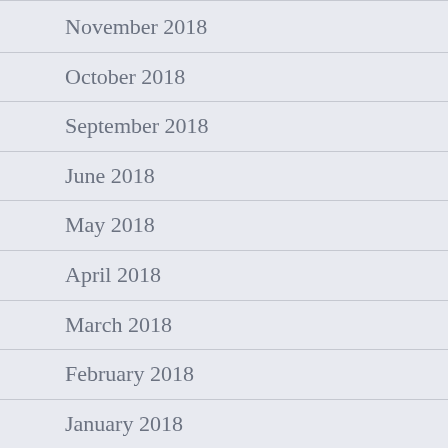November 2018
October 2018
September 2018
June 2018
May 2018
April 2018
March 2018
February 2018
January 2018